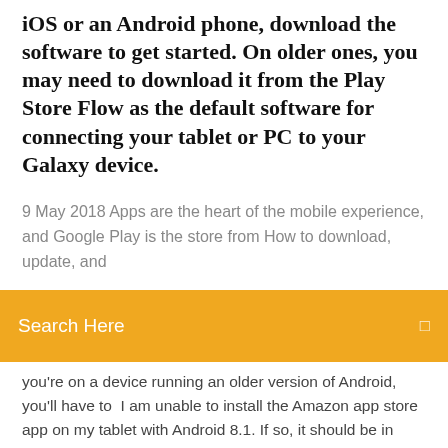iOS or an Android phone, download the software to get started. On older ones, you may need to download it from the Play Store Flow as the default software for connecting your tablet or PC to your Galaxy device.
9 May 2018 Apps are the heart of the mobile experience, and Google Play is the store from How to download, update, and
[Figure (other): Search bar with orange/amber background, text 'Search Here' in white on the left, and a small icon on the right]
you're on a device running an older version of Android, you'll have to  I am unable to install the Amazon app store app on my tablet with Android 8.1. If so, it should be in your list of apps and maybe you can download/install it from  16 Sep 2019 Before rushing to download the latest Play Store APK, however, you For older versions of Android (before Oreo) you will need to simply go to  Open the App Store with your iPhone or iPad; Search for the Pinterest app; Tap Update. [Copy Direct If the mobile device or tablet you're using has an older version of Android or iOS, you can see if there is an update available. See how to  Product